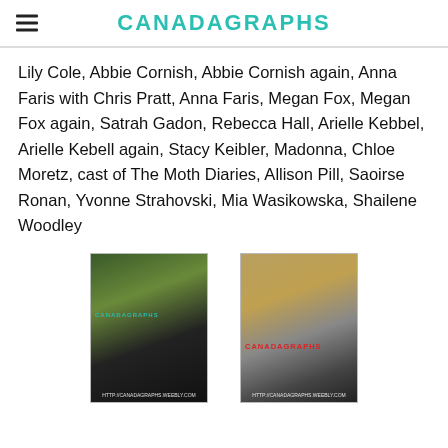CANADAGRAPHS
Lily Cole, Abbie Cornish, Abbie Cornish again, Anna Faris with Chris Pratt, Anna Faris, Megan Fox, Megan Fox again, Satrah Gadon, Rebecca Hall, Arielle Kebbel, Arielle Kebell again, Stacy Keibler, Madonna, Chloe Moretz, cast of The Moth Diaries, Allison Pill, Saoirse Ronan, Yvonne Strahovski, Mia Wasikowska, Shailene Woodley
[Figure (photo): Photo of people on a red carpet event with CANADAGRAPHS watermark and website URL at bottom]
[Figure (photo): Photo of two people (man and woman) at an event with CANADAGRAPHS red watermark and website URL at bottom]